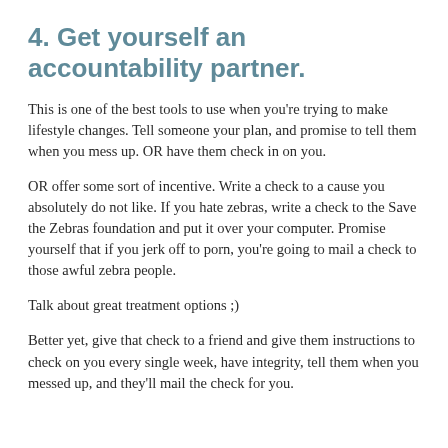4. Get yourself an accountability partner.
This is one of the best tools to use when you're trying to make lifestyle changes. Tell someone your plan, and promise to tell them when you mess up. OR have them check in on you.
OR offer some sort of incentive. Write a check to a cause you absolutely do not like. If you hate zebras, write a check to the Save the Zebras foundation and put it over your computer. Promise yourself that if you jerk off to porn, you're going to mail a check to those awful zebra people.
Talk about great treatment options ;)
Better yet, give that check to a friend and give them instructions to check on you every single week, have integrity, tell them when you messed up, and they'll mail the check for you.